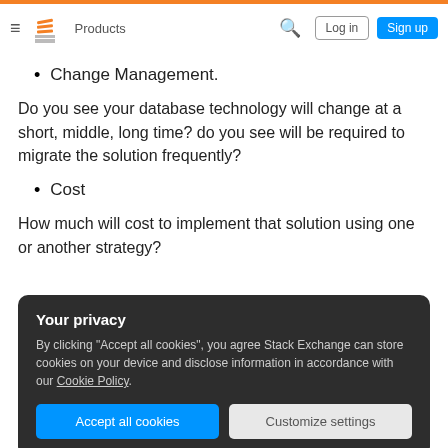≡  Stack Overflow  Products  🔍  Log in  Sign up
Change Management.
Do you see your database technology will change at a short, middle, long time? do you see will be required to migrate the solution frequently?
Cost
How much will cost to implement that solution using one or another strategy?
Your privacy
By clicking "Accept all cookies", you agree Stack Exchange can store cookies on your device and disclose information in accordance with our Cookie Policy.
[Accept all cookies] [Customize settings]
layer based solution is best.